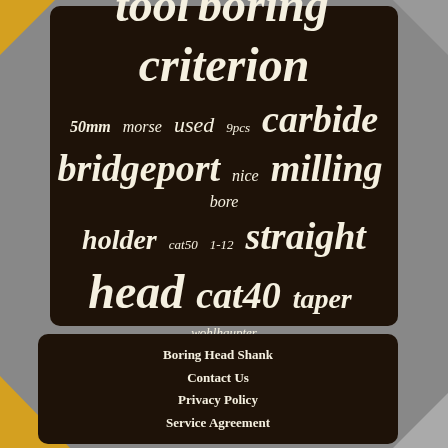[Figure (infographic): Word cloud on dark brown background featuring machining/tooling related terms in varying sizes: dbl-203, bars, kaiser, universal, tool, boring, criterion, 50mm, morse, used, 9pcs, carbide, bridgeport, nice, milling, bore, holder, cat50, 1-12, straight, head, cat40, taper, wohlhaupter, tools, fine, dbl-202, mill, facing]
Boring Head Shank
Contact Us
Privacy Policy
Service Agreement